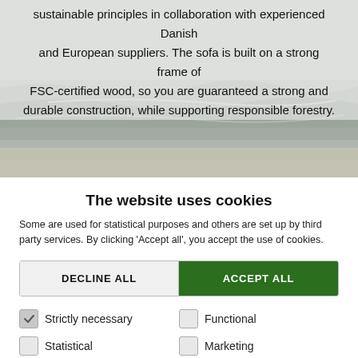[Figure (photo): Beach scene with waves and grey sky, partially overlaid with text about sustainable furniture production]
sustainable principles in collaboration with experienced Danish and European suppliers. The sofa is built on a strong frame of FSC-certified wood, so you are guaranteed a strong and durable construction, while supporting responsible forestry.
The website uses cookies
Some are used for statistical purposes and others are set up by third party services. By clicking 'Accept all', you accept the use of cookies.
DECLINE ALL | ACCEPT ALL
Strictly necessary (checked)
Functional
Statistical
Marketing
SHOW DETAILS